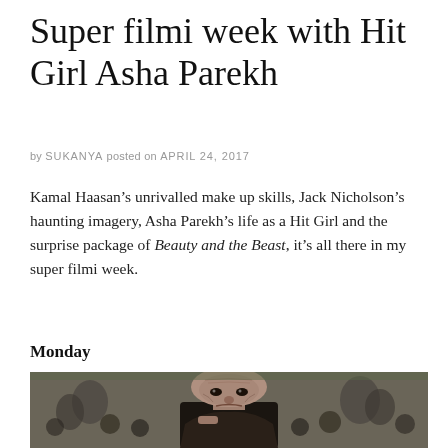Super filmi week with Hit Girl Asha Parekh
by SUKANYA posted on APRIL 24, 2017
Kamal Haasan’s unrivalled make up skills, Jack Nicholson’s haunting imagery, Asha Parekh’s life as a Hit Girl and the surprise package of Beauty and the Beast, it’s all there in my super filmi week.
Monday
[Figure (photo): A person with heavy prosthetic makeup — bald, aged, wrinkled face — staring intensely at the camera, surrounded by a crowd in the background.]